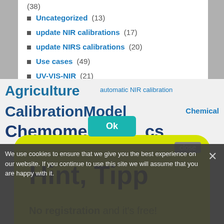(38)
Uncategorized (13)
update NIR calibrations (17)
update NIRS calibrations (20)
Use cases (49)
UV-VIS-NIR (21)
Validation (22)
Hint, Tipp
No registration and it's free!
There is a free NIR-Predictor Software.
>>> Show me <<<
We use cookies to ensure that we give you the best experience on our website. If you continue to use this site we will assume that you are happy with it.
Agriculture automatic NIR calibration CalibrationModel.com Chemical Chemometrics